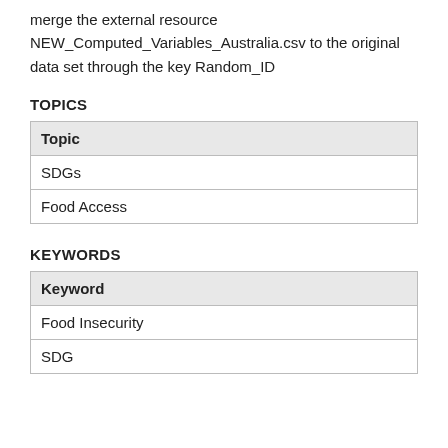merge the external resource NEW_Computed_Variables_Australia.csv to the original data set through the key Random_ID
TOPICS
| Topic |
| --- |
| SDGs |
| Food Access |
KEYWORDS
| Keyword |
| --- |
| Food Insecurity |
| SDG |